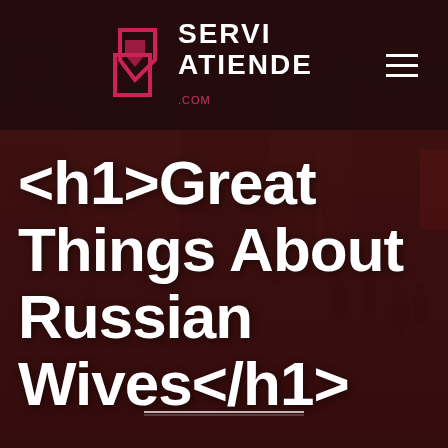[Figure (photo): Dark urban street scene with pedestrians and buildings, overlaid with a deep red/maroon color filter. Background photo of a busy city street.]
SERVI ATIENDE .com
<h1>Great Things About Russian Wives</h1>